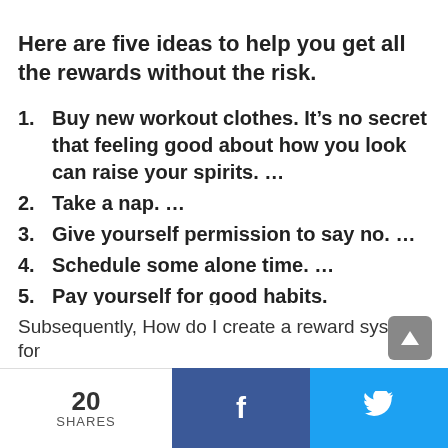Here are five ideas to help you get all the rewards without the risk.
1. Buy new workout clothes. It’s no secret that feeling good about how you look can raise your spirits. …
2. Take a nap. …
3. Give yourself permission to say no. …
4. Schedule some alone time. …
5. Pay yourself for good habits.
Subsequently, How do I create a reward system for
20 SHARES  f  🐦